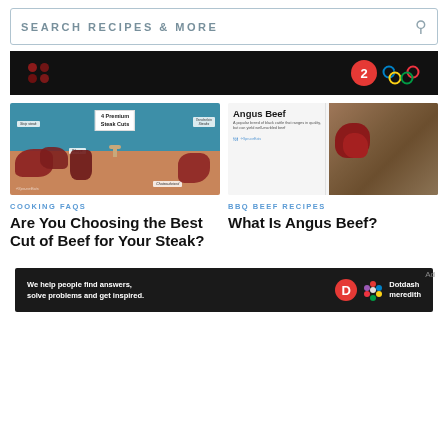SEARCH RECIPES & MORE
[Figure (screenshot): Dark advertisement banner with colored dot pattern on left and Olympic rings with a red circle logo on right]
[Figure (illustration): Illustration of 4 Premium Steak Cuts on a tan surface with blue background, showing labeled cuts: Strip Steak, Tenderloin Steaks, Ribeye, Chateaubriand]
[Figure (photo): Angus Beef informational card with text description and photo of raw beef on wooden cutting board]
COOKING FAQS
Are You Choosing the Best Cut of Beef for Your Steak?
BBQ BEEF RECIPES
What Is Angus Beef?
[Figure (screenshot): Dark Dotdash Meredith advertisement banner: 'We help people find answers, solve problems and get inspired.']